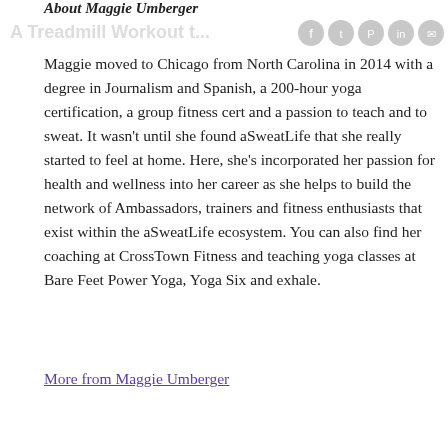About Maggie Umberger
Maggie moved to Chicago from North Carolina in 2014 with a degree in Journalism and Spanish, a 200-hour yoga certification, a group fitness cert and a passion to teach and to sweat. It wasn't until she found aSweatLife that she really started to feel at home. Here, she's incorporated her passion for health and wellness into her career as she helps to build the network of Ambassadors, trainers and fitness enthusiasts that exist within the aSweatLife ecosystem. You can also find her coaching at CrossTown Fitness and teaching yoga classes at Bare Feet Power Yoga, Yoga Six and exhale.
More from Maggie Umberger